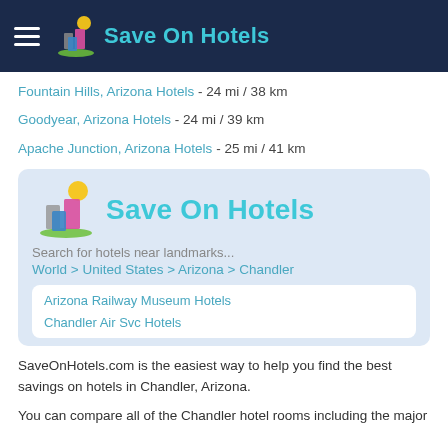Save On Hotels
Fountain Hills, Arizona Hotels - 24 mi / 38 km
Goodyear, Arizona Hotels - 24 mi / 39 km
Apache Junction, Arizona Hotels - 25 mi / 41 km
[Figure (logo): Save On Hotels logo with colorful building icons and text]
Search for hotels near landmarks...
World > United States > Arizona > Chandler
Arizona Railway Museum Hotels
Chandler Air Svc Hotels
SaveOnHotels.com is the easiest way to help you find the best savings on hotels in Chandler, Arizona.
You can compare all of the Chandler hotel rooms including the major